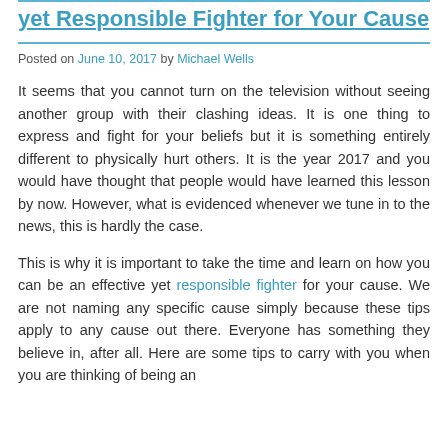yet Responsible Fighter for Your Cause
Posted on June 10, 2017 by Michael Wells
It seems that you cannot turn on the television without seeing another group with their clashing ideas. It is one thing to express and fight for your beliefs but it is something entirely different to physically hurt others. It is the year 2017 and you would have thought that people would have learned this lesson by now. However, what is evidenced whenever we tune in to the news, this is hardly the case.
This is why it is important to take the time and learn on how you can be an effective yet responsible fighter for your cause. We are not naming any specific cause simply because these tips apply to any cause out there. Everyone has something they believe in, after all. Here are some tips to carry with you when you are thinking of being an